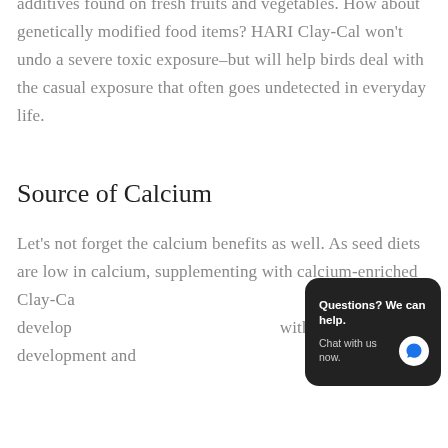additives found on fresh fruits and vegetables. How about genetically modified food items? HARI Clay-Cal won't undo a severe toxic exposure–but will help birds deal with the casual exposure that often goes undetected in everyday life.
Source of Calcium
Let's not forget the calcium benefits as well. As seed diets are low in calcium, supplementing with calcium-enriched Clay-Cal... develop... with the normal development and